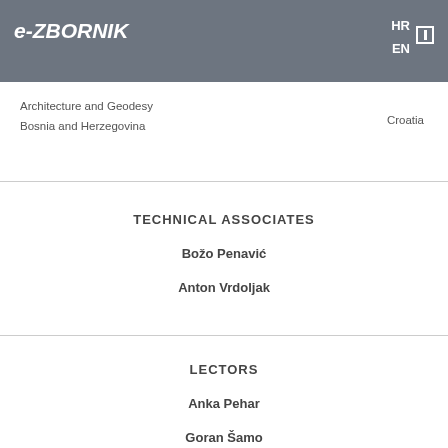e-ZBORNIK | HR EN
Architecture and Geodesy
Bosnia and Herzegovina
Croatia
TECHNICAL ASSOCIATES
Božo Penavić
Anton Vrdoljak
LECTORS
Anka Pehar
Goran Šamo